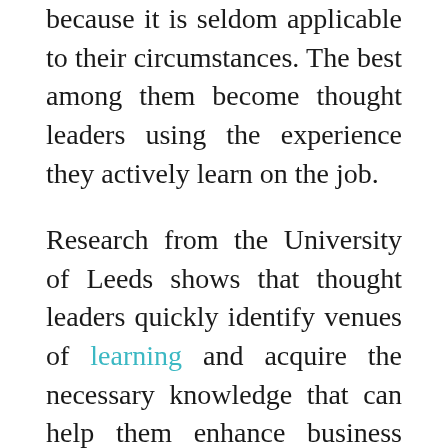because it is seldom applicable to their circumstances. The best among them become thought leaders using the experience they actively learn on the job.
Research from the University of Leeds shows that thought leaders quickly identify venues of learning and acquire the necessary knowledge that can help them enhance business performance, and more importantly inspire others around them.
They have in-depth knowledge of the business model at work. Thought leaders in the workplace can make it possible for the rest of the team to better understand and